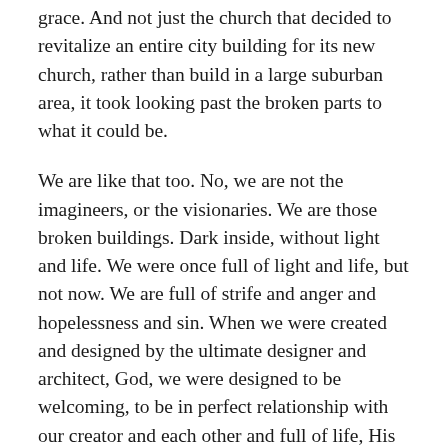grace. And not just the church that decided to revitalize an entire city building for its new church, rather than build in a large suburban area, it took looking past the broken parts to what it could be.
We are like that too. No, we are not the imagineers, or the visionaries. We are those broken buildings. Dark inside, without light and life. We were once full of light and life, but not now. We are full of strife and anger and hopelessness and sin. When we were created and designed by the ultimate designer and architect, God, we were designed to be welcoming, to be in perfect relationship with our creator and each other and full of life, His life, His Zoe that He breathed into the first man Adam. But then sin arrived and we found ourselves off the beaten path from God. The life and light was gone. We grew old and our bodies saw decay and death. But God offered us grace, right from the beginning